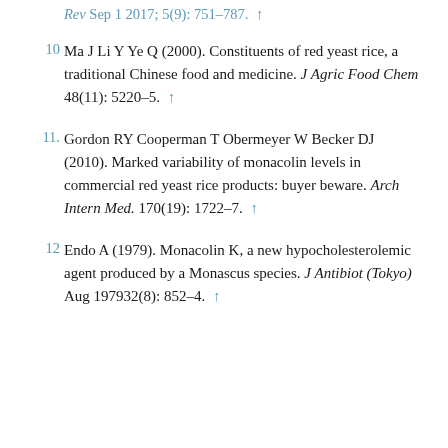Rev Sep 1 2017; 5(9): 751–787. ↑
10 Ma J Li Y Ye Q (2000). Constituents of red yeast rice, a traditional Chinese food and medicine. J Agric Food Chem 48(11): 5220–5. ↑
11. Gordon RY Cooperman T Obermeyer W Becker DJ (2010). Marked variability of monacolin levels in commercial red yeast rice products: buyer beware. Arch Intern Med. 170(19): 1722–7. ↑
12 Endo A (1979). Monacolin K, a new hypocholesterolemic agent produced by a Monascus species. J Antibiot (Tokyo) Aug 197932(8): 852–4. ↑